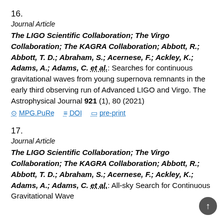16.
Journal Article
The LIGO Scientific Collaboration; The Virgo Collaboration; The KAGRA Collaboration; Abbott, R.; Abbott, T. D.; Abraham, S.; Acernese, F.; Ackley, K.; Adams, A.; Adams, C. et al.: Searches for continuous gravitational waves from young supernova remnants in the early third observing run of Advanced LIGO and Virgo. The Astrophysical Journal 921 (1), 80 (2021)
MPG.PuRe  DOI  pre-print
17.
Journal Article
The LIGO Scientific Collaboration; The Virgo Collaboration; The KAGRA Collaboration; Abbott, R.; Abbott, T. D.; Abraham, S.; Acernese, F.; Ackley, K.; Adams, A.; Adams, C. et al.: All-sky Search for Continuous Gravitational Wave